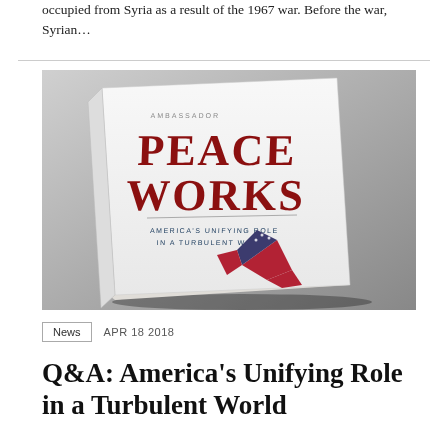occupied from Syria as a result of the 1967 war. Before the war, Syrian...
[Figure (photo): Book cover of 'Peace Works: America's Unifying Role in a Turbulent World' by Ambassador, showing the title in large red letters with an origami crane made from an American flag pattern on a white cover, photographed at an angle.]
News   APR 18 2018
Q&A: America's Unifying Role in a Turbulent World